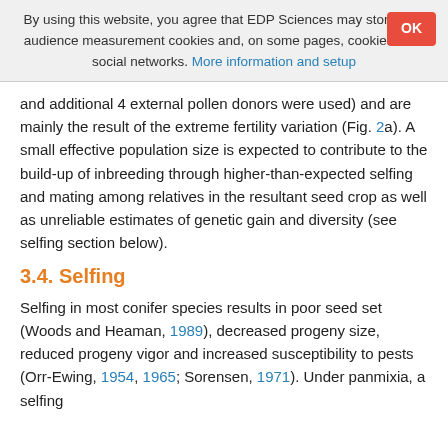By using this website, you agree that EDP Sciences may store web audience measurement cookies and, on some pages, cookies from social networks. More information and setup
and additional 4 external pollen donors were used) and are mainly the result of the extreme fertility variation (Fig. 2a). A small effective population size is expected to contribute to the build-up of inbreeding through higher-than-expected selfing and mating among relatives in the resultant seed crop as well as unreliable estimates of genetic gain and diversity (see selfing section below).
3.4. Selfing
Selfing in most conifer species results in poor seed set (Woods and Heaman, 1989), decreased progeny size, reduced progeny vigor and increased susceptibility to pests (Orr-Ewing, 1954, 1965; Sorensen, 1971). Under panmixia, a selfing